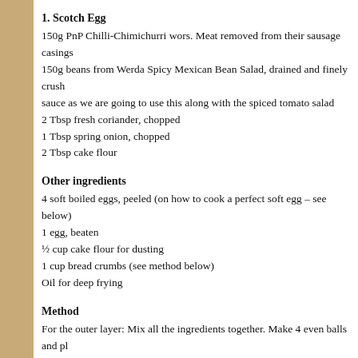1. Scotch Egg
150g PnP Chilli-Chimichurri wors. Meat removed from their sausage casings 150g beans from Werda Spicy Mexican Bean Salad, drained and finely crushed sauce as we are going to use this along with the spiced tomato salad
2 Tbsp fresh coriander, chopped
1 Tbsp spring onion, chopped
2 Tbsp cake flour
Other ingredients
4 soft boiled eggs, peeled (on how to cook a perfect soft egg – see below)
1 egg, beaten
½ cup cake flour for dusting
1 cup bread crumbs (see method below)
Oil for deep frying
Method
For the outer layer: Mix all the ingredients together. Make 4 even balls and pl... Prep your table. Put your flour, beaten eggs and crumbs each on a plate in th... Take a piece of cling wrap and place it on your kitchen work surface. Lightly c... and flatten it out on the oiled cling wrap, shaping it into an oval patty with you... large enough to wrap around the egg. Roll the soft boiled egg in flour. Place t... cling wrap up with the flattened meatball and egg inside and using your hand... the outside of the cling wrap.
Roll the meat-wrapped egg in the flour, then in the beaten egg and then the b... process for the other three eggs.